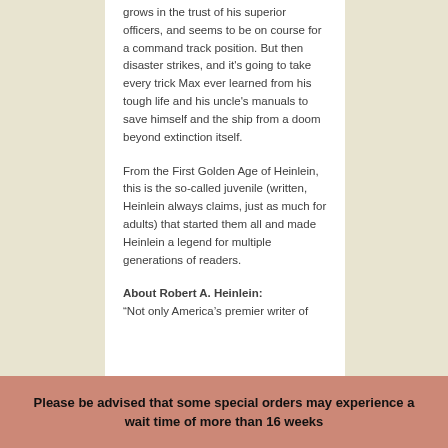grows in the trust of his superior officers, and seems to be on course for a command track position. But then disaster strikes, and it's going to take every trick Max ever learned from his tough life and his uncle's manuals to save himself and the ship from a doom beyond extinction itself.
From the First Golden Age of Heinlein, this is the so-called juvenile (written, Heinlein always claims, just as much for adults) that started them all and made Heinlein a legend for multiple generations of readers.
About Robert A. Heinlein: “Not only America’s premier writer of speculative fiction but the most widely...
Please be advised that some special orders may experience a wait time of more than 16 weeks